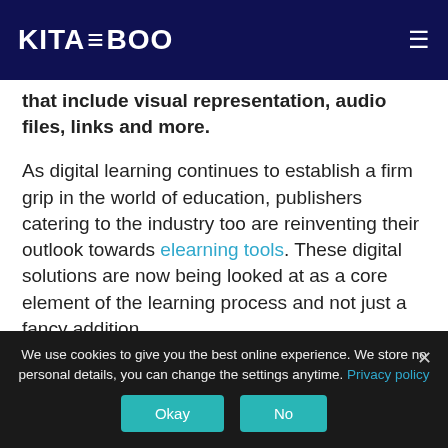KITABOO
that include visual representation, audio files, links and more.
As digital learning continues to establish a firm grip in the world of education, publishers catering to the industry too are reinventing their outlook towards elearning tools. These digital solutions are now being looked at as a core element of the learning process and not just a fancy addition.
This has also heralded a change in their long-established operational models and priorities to stay relevant in a digital learning environment. For this paradigm shift to be successful,
We use cookies to give you the best online experience. We store no personal details, you can change the settings anytime. Privacy policy
Okay
No